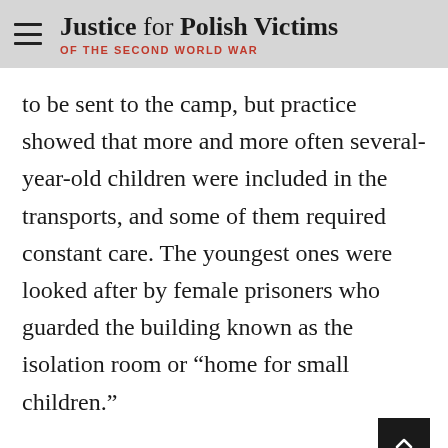Justice for Polish Victims OF THE SECOND WORLD WAR
to be sent to the camp, but practice showed that more and more often several-year-old children were included in the transports, and some of them required constant care. The youngest ones were looked after by female prisoners who guarded the building known as the isolation room or “home for small children.”
The camp served mainly as a “huge